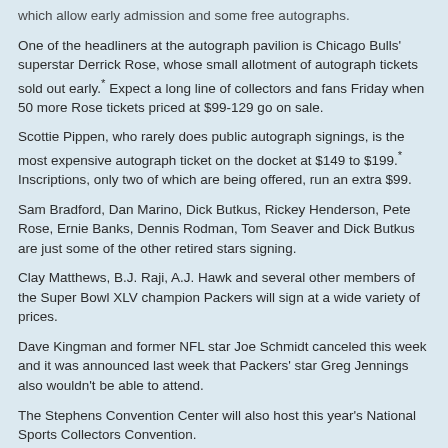which allow early admission and some free autographs.
One of the headliners at the autograph pavilion is Chicago Bulls' superstar Derrick Rose, whose small allotment of autograph tickets sold out early.* Expect a long line of collectors and fans Friday when 50 more Rose tickets priced at $99-129 go on sale.
Scottie Pippen, who rarely does public autograph signings, is the most expensive autograph ticket on the docket at $149 to $199.* Inscriptions, only two of which are being offered, run an extra $99.
Sam Bradford, Dan Marino, Dick Butkus, Rickey Henderson, Pete Rose, Ernie Banks, Dennis Rodman, Tom Seaver and Dick Butkus are just some of the other retired stars signing.
Clay Matthews, B.J. Raji, A.J. Hawk and several other members of the Super Bowl XLV champion Packers will sign at a wide variety of prices.
Dave Kingman and former NFL star Joe Schmidt canceled this week and it was announced last week that Packers' star Greg Jennings also wouldn't be able to attend.
The Stephens Convention Center will also host this year's National Sports Collectors Convention.
Can't make the show?* Buy autographs via Mounted Memories.